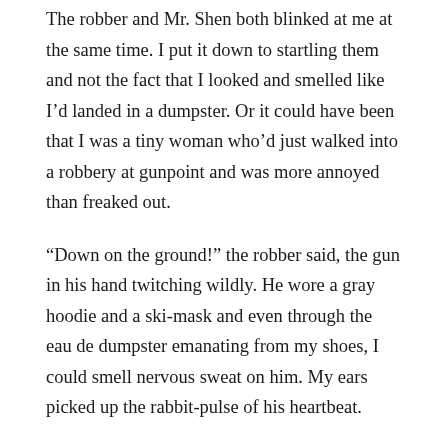The robber and Mr. Shen both blinked at me at the same time. I put it down to startling them and not the fact that I looked and smelled like I'd landed in a dumpster. Or it could have been that I was a tiny woman who'd just walked into a robbery at gunpoint and was more annoyed than freaked out.
“Down on the ground!” the robber said, the gun in his hand twitching wildly. He wore a gray hoodie and a ski-mask and even through the eau de dumpster emanating from my shoes, I could smell nervous sweat on him. My ears picked up the rabbit-pulse of his heartbeat.
“Did you hear me, bitch?” he said, and I nearly rolled my eyes. Why that word? Why always that word? “Get on the ground!”